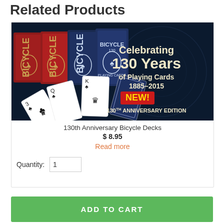Related Products
[Figure (photo): Bicycle 130th Anniversary Playing Card Decks promotional image showing red and blue card boxes and playing cards fanned out, with text 'Celebrating 130 Years of Playing Cards 1885-2015 NEW! 130th Anniversary Edition' on dark navy background]
130th Anniversary Bicycle Decks
$ 8.95
Read more
Quantity: 1
ADD TO CART